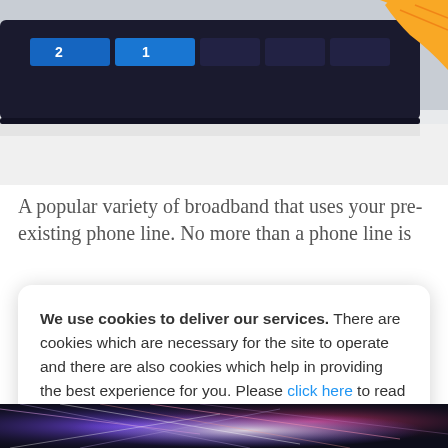[Figure (photo): Close-up photo of network switch or router with numbered blue ports and a yellow ethernet cable]
A popular variety of broadband that uses your pre-existing phone line. No more than a phone line is
We use cookies to deliver our services. There are cookies which are necessary for the site to operate and there are also cookies which help in providing the best experience for you. Please click here to read more about these cookies or press OK to accept these cookies.
[Figure (photo): Fiber optic cables glowing with colorful light, purple and white tones]